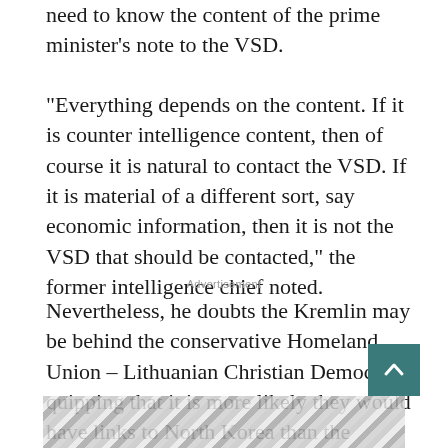need to know the content of the prime minister’s note to the VSD.
“Everything depends on the content. If it is counter intelligence content, then of course it is natural to contact the VSD. If it is material of a different sort, say economic information, then it is not the VSD that should be contacted,” the former intelligence chief noted.
Advertisement
Nevertheless, he doubts the Kremlin may be behind the conservative Homeland Union – Lithuanian Christian Democrats, quipping that it is more likely they would have links to North Korea than the Kremlin.
[Figure (illustration): Decorative floral/leaf pattern image at bottom of page]